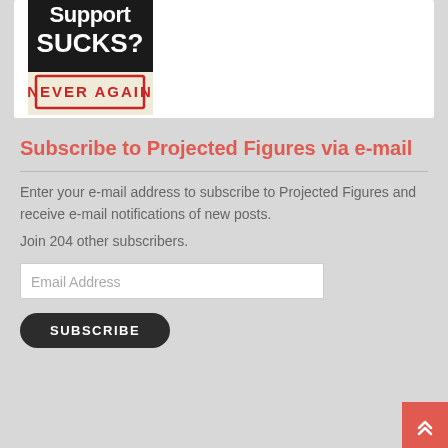[Figure (illustration): Book cover showing 'Support SUCKS? NEVER AGAIN' text on dark background with red stamp-style label]
Subscribe to Projected Figures via e-mail
Enter your e-mail address to subscribe to Projected Figures and receive e-mail notifications of new posts.
Join 204 other subscribers.
Email Address
SUBSCRIBE